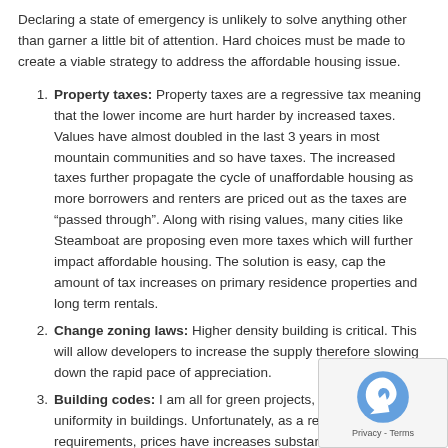Declaring a state of emergency is unlikely to solve anything other than garner a little bit of attention.  Hard choices must be made to create a viable strategy to address the affordable housing issue.
Property taxes: Property taxes are a regressive tax meaning that the lower income are hurt harder by increased taxes. Values have almost doubled in the last 3 years in most mountain communities and so have taxes.  The increased taxes further propagate the cycle of unaffordable housing as more borrowers and renters are priced out as the taxes are “passed through”.  Along with rising values, many cities like Steamboat are proposing even more taxes which will further impact affordable housing.  The solution is easy, cap the amount of tax increases on primary residence properties and long term rentals.
Change zoning laws: Higher density building is critical. This will allow developers to increase the supply therefore slowing down the rapid pace of appreciation.
Building codes: I am all for green projects, high efficiency an uniformity in buildings.  Unfortunately,  as a result of all th requirements, prices have increases substantially.  The n need to be tailored to allow builders to profitably build lower